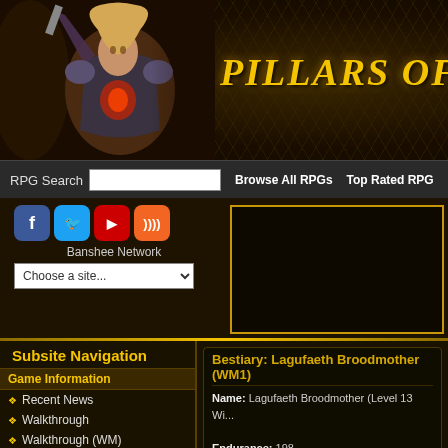[Figure (screenshot): Website header banner for Pillars of Eternity fan site, showing a female armored character on dark background with honeycomb texture and 'Pillars of' gold title text]
Pillars of
RPG Search   Browse All RPGs   Top Rated RPG
Banshee Network
Choose a site...
Subsite Navigation
Game Information
Recent News
Walkthrough
Walkthrough (WM)
Locations
Bestiary: Lagufaeth Broodmother (WM1)
Name: Lagufaeth Broodmother (Level 13 Wi...)
Endurance: 198
Accuracy: 76
Damage: 16-22 Pierce
DR: 16 (Crush 24, Shock 20, Corrode 8)